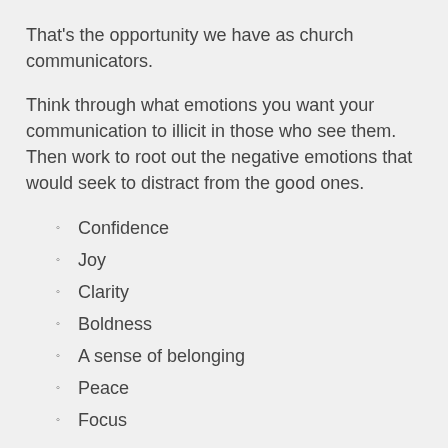That's the opportunity we have as church communicators.
Think through what emotions you want your communication to illicit in those who see them. Then work to root out the negative emotions that would seek to distract from the good ones.
Confidence
Joy
Clarity
Boldness
A sense of belonging
Peace
Focus
More: